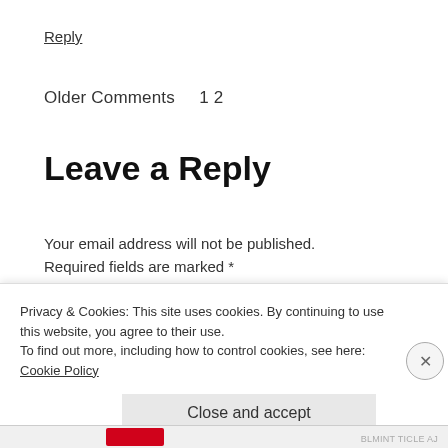Reply
Older Comments    1 2
Leave a Reply
Your email address will not be published. Required fields are marked *
Comment *
Privacy & Cookies: This site uses cookies. By continuing to use this website, you agree to their use.
To find out more, including how to control cookies, see here: Cookie Policy
Close and accept